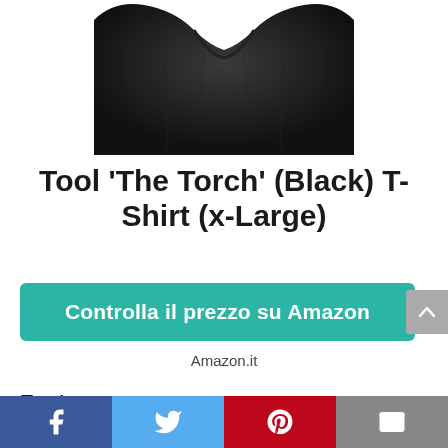[Figure (photo): Black T-shirt (top portion showing collar and body) on white background]
Tool 'The Torch' (Black) T-Shirt (x-Large)
Controlla il prezzo su Amazon
Amazon.it
Features
[Figure (other): Social sharing bar with Facebook, Twitter, Pinterest, and Email buttons]